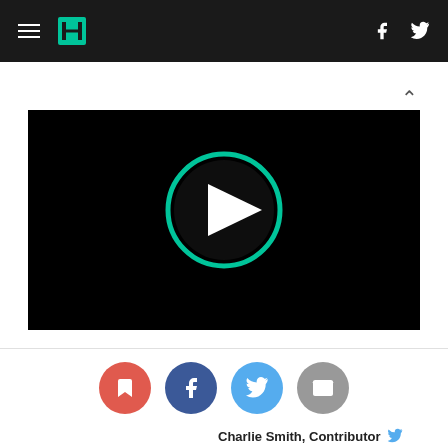HuffPost navigation with hamburger menu, logo, Facebook and Twitter icons
[Figure (screenshot): Video player with black background and teal-outlined play button circle in center]
[Figure (infographic): Row of four social sharing buttons: bookmark (red), Facebook (dark blue), Twitter (light blue), email (grey)]
Charlie Smith, Contributor [Twitter bird icon]
Co-Founder, GreatFire.org